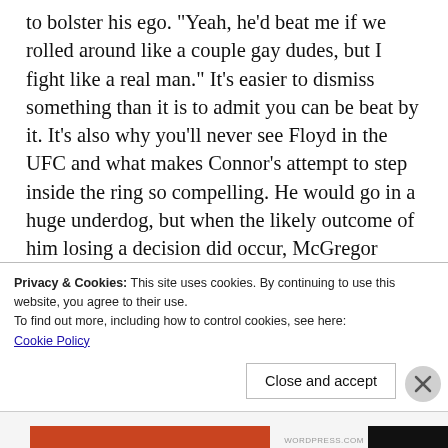to bolster his ego. "Yeah, he'd beat me if we rolled around like a couple gay dudes, but I fight like a real man." It's easier to dismiss something than it is to admit you can be beat by it. It's also why you'll never see Floyd in the UFC and what makes Connor's attempt to step inside the ring so compelling. He would go in a huge underdog, but when the likely outcome of him losing a decision did occur, McGregor would hold a trump card: "I stepped into your world and took it to you
Privacy & Cookies: This site uses cookies. By continuing to use this website, you agree to their use.
To find out more, including how to control cookies, see here: Cookie Policy